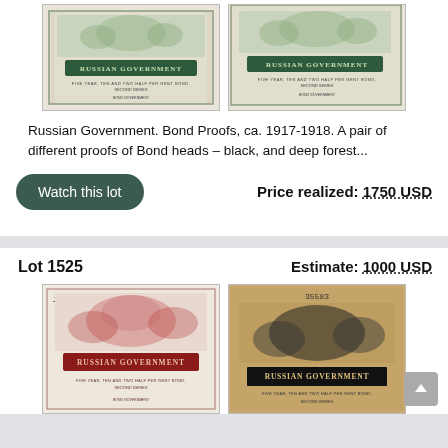[Figure (photo): Two Russian Government bond proof images side by side, black/dark green color on cream paper]
Russian Government. Bond Proofs, ca. 1917-1918. A pair of different proofs of Bond heads – black, and deep forest...
Watch this lot
Price realized: 1750 USD
Lot 1525
Estimate: 1000 USD
[Figure (photo): Two Russian Government bond proof images - one in dark red/crimson on cream paper, one in black on tan/kraft paper]